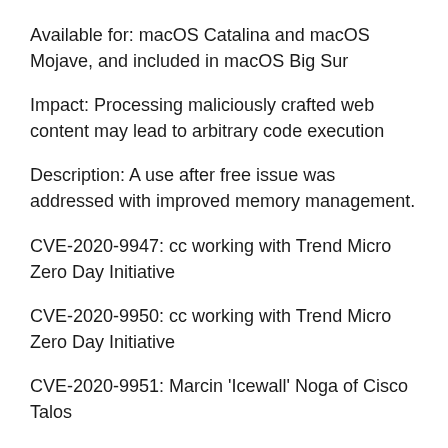Available for: macOS Catalina and macOS Mojave, and included in macOS Big Sur
Impact: Processing maliciously crafted web content may lead to arbitrary code execution
Description: A use after free issue was addressed with improved memory management.
CVE-2020-9947: cc working with Trend Micro Zero Day Initiative
CVE-2020-9950: cc working with Trend Micro Zero Day Initiative
CVE-2020-9951: Marcin 'Icewall' Noga of Cisco Talos
Entry updated November 12, 2020